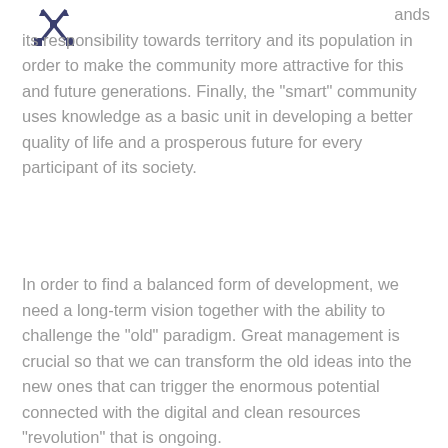[Figure (logo): Small dark blue logo/icon showing a stylized building or community symbol with arrows]
ands its responsibility towards territory and its population in order to make the community more attractive for this and future generations. Finally, the "smart" community uses knowledge as a basic unit in developing a better quality of life and a prosperous future for every participant of its society.
In order to find a balanced form of development, we need a long-term vision together with the ability to challenge the "old" paradigm. Great management is crucial so that we can transform the old ideas into the new ones that can trigger the enormous potential connected with the digital and clean resources "revolution" that is ongoing.